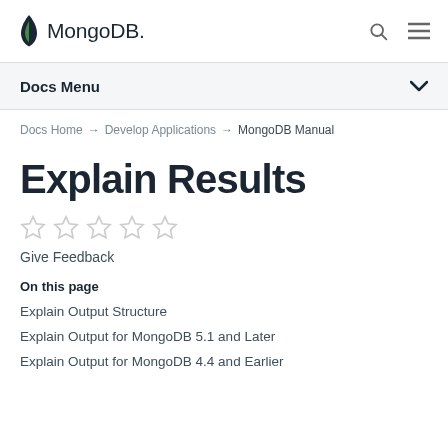MongoDB — Docs Menu
Docs Home → Develop Applications → MongoDB Manual
Explain Results
[Figure (other): Five empty star rating icons for user feedback]
Give Feedback
On this page
Explain Output Structure
Explain Output for MongoDB 5.1 and Later
Explain Output for MongoDB 4.4 and Earlier